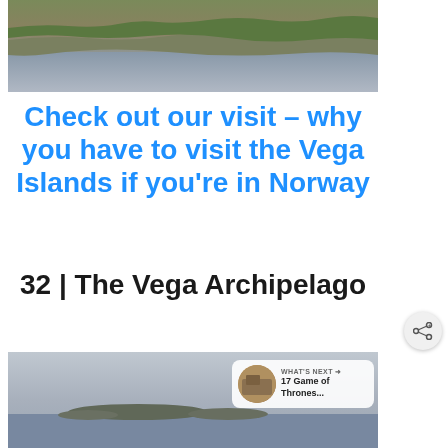[Figure (photo): Coastal landscape showing rocky shoreline with green grass on top and grey water below, viewed from above]
Check out our visit – why you have to visit the Vega Islands if you're in Norway
32 | The Vega Archipelago
[Figure (photo): Wide seascape with islands visible on the horizon, grey misty sky and calm grey water in foreground]